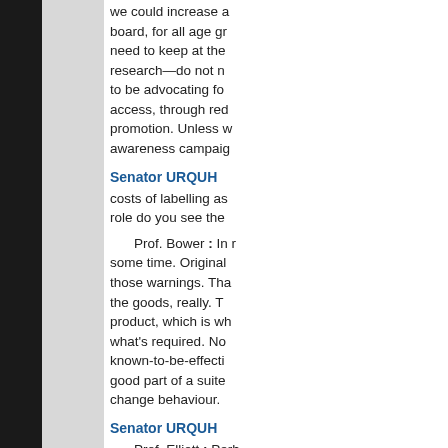we could increase a board, for all age gr need to keep at the research—do not n to be advocating fo access, through red promotion. Unless w awareness campaig
Senator URQUH
costs of labelling as role do you see the
Prof. Bower : In r some time. Original those warnings. Tha the goods, really. T product, which is wh what's required. No known-to-be-effecti good part of a suite change behaviour.
Senator URQUH
Prof. Elliott : Perh analysis of the costs patients that have b $1 million. That is, l costs, such as reme et cetera. If you'd lik